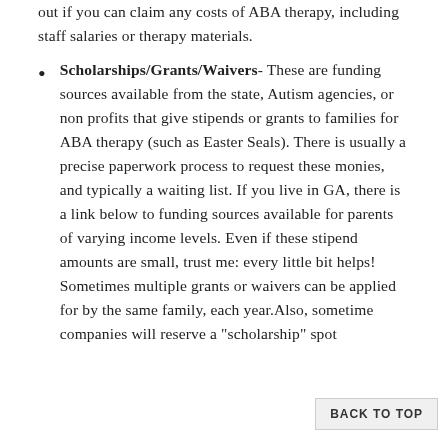out if you can claim any costs of ABA therapy, including staff salaries or therapy materials.
Scholarships/Grants/Waivers- These are funding sources available from the state, Autism agencies, or non profits that give stipends or grants to families for ABA therapy (such as Easter Seals). There is usually a precise paperwork process to request these monies, and typically a waiting list. If you live in GA, there is a link below to funding sources available for parents of varying income levels. Even if these stipend amounts are small, trust me: every little bit helps! Sometimes multiple grants or waivers can be applied for by the same family, each year.Also, sometime companies will reserve a "scholarship" spot